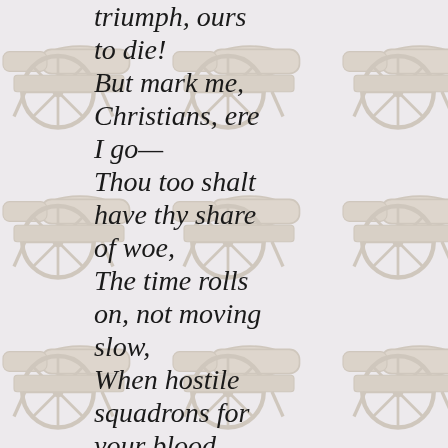[Figure (illustration): Repeated watermark-style background illustration of historical cannons on wheeled carriages, arranged in a tiled grid pattern across the full page, rendered in muted gray tones.]
triumph, ours to die! But mark me, Christians, ere I go— Thou too shalt have thy share of woe, The time rolls on, not moving slow, When hostile squadrons for your blood shall come, And ravage all your shore! Your warriors and your children slay, And some in